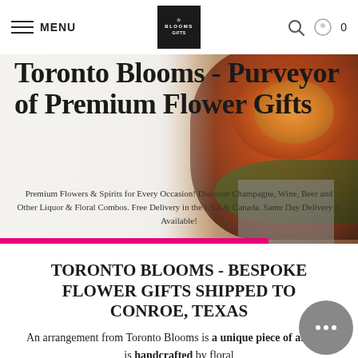MENU | BLOOMS logo | search icon | cart 0
[Figure (photo): Hero banner with woman arranging orange roses in a gray box, overlaid with large serif title text and promotional subtext. Pink bar at bottom.]
Toronto Blooms - Purveyor of Premium Flower Gifts
Premium Flowers & Spirits for Every Occasion! Discover Champagne, Wine, Beer and Other Liquor & Floral Combos. Free Delivery in the USA & Canada. Same Day Delivery is Available!
TORONTO BLOOMS - BESPOKE FLOWER GIFTS SHIPPED TO CONROE, TEXAS
An arrangement from Toronto Blooms is a unique piece of art, that is handcrafted by floral